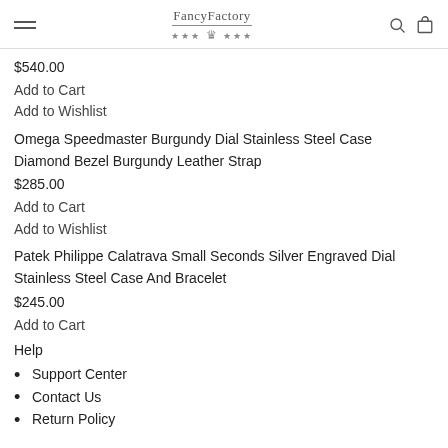FancyFactory *** ☆ ***
$540.00
Add to Cart
Add to Wishlist
Omega Speedmaster Burgundy Dial Stainless Steel Case Diamond Bezel Burgundy Leather Strap
$285.00
Add to Cart
Add to Wishlist
Patek Philippe Calatrava Small Seconds Silver Engraved Dial Stainless Steel Case And Bracelet
$245.00
Add to Cart
Help
Support Center
Contact Us
Return Policy